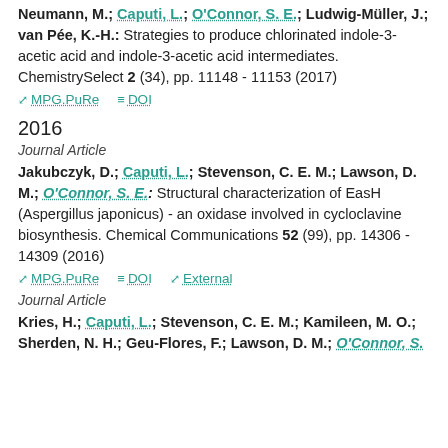Neumann, M.; Caputi, L.; O'Connor, S. E.; Ludwig-Müller, J.; van Pée, K.-H.: Strategies to produce chlorinated indole-3-acetic acid and indole-3-acetic acid intermediates. ChemistrySelect 2 (34), pp. 11148 - 11153 (2017)
MPG.PuRe  DOI
2016
Journal Article
Jakubczyk, D.; Caputi, L.; Stevenson, C. E. M.; Lawson, D. M.; O'Connor, S. E.: Structural characterization of EasH (Aspergillus japonicus) - an oxidase involved in cycloclavine biosynthesis. Chemical Communications 52 (99), pp. 14306 - 14309 (2016)
MPG.PuRe  DOI  External
Journal Article
Kries, H.; Caputi, L.; Stevenson, C. E. M.; Kamileen, M. O.; Sherden, N. H.; Geu-Flores, F.; Lawson, D. M.; O'Connor, S.